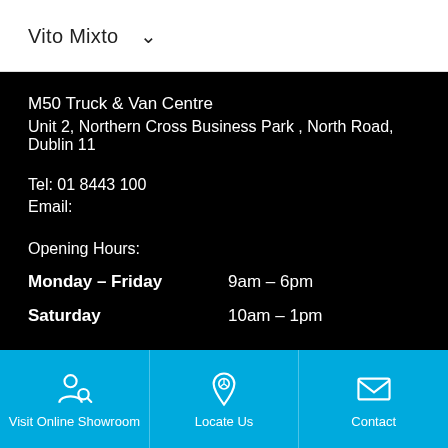Vito Mixto
M50 Truck & Van Centre
Unit 2, Northern Cross Business Park , North Road, Dublin 11
Tel: 01 8443100
Email:
Opening Hours:
Monday – Friday   9am – 6pm
Saturday   10am – 1pm
Visit Online Showroom | Locate Us | Contact